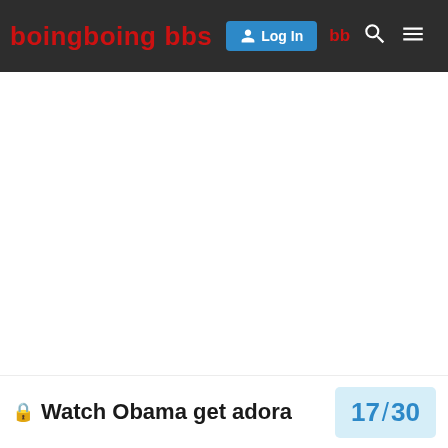boing boing bbs — Log In navigation bar
Watch Obama get adora
17 / 30